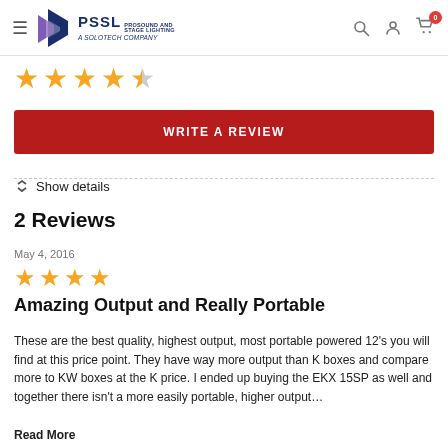PSSL Pro Sound and Stage Lighting — A Solotech Company
[Figure (other): 4.5 star rating displayed as gold star icons]
WRITE A REVIEW
Show details
2 Reviews
May 4, 2016
[Figure (other): 4 star rating displayed as gold star icons]
Amazing Output and Really Portable
These are the best quality, highest output, most portable powered 12's you will find at this price point. They have way more output than K boxes and compare more to KW boxes at the K price. I ended up buying the EKX 15SP as well and together there isn't a more easily portable, higher output…
Read More